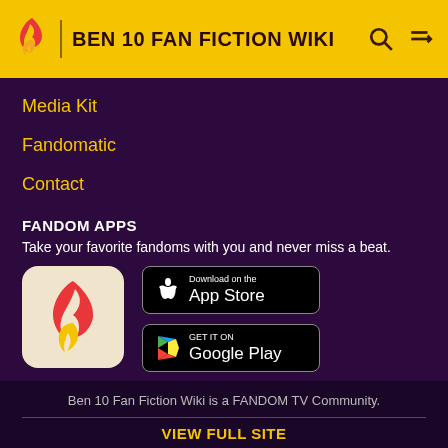BEN 10 FAN FICTION WIKI
Media Kit
Fandomatic
Contact
FANDOM APPS
Take your favorite fandoms with you and never miss a beat.
[Figure (logo): Fandom app icon: pink/red flame with yellow heart on beige background]
[Figure (screenshot): Download on the App Store button (black)]
[Figure (screenshot): GET IT ON Google Play button (black)]
Ben 10 Fan Fiction Wiki is a FANDOM TV Community.
VIEW FULL SITE